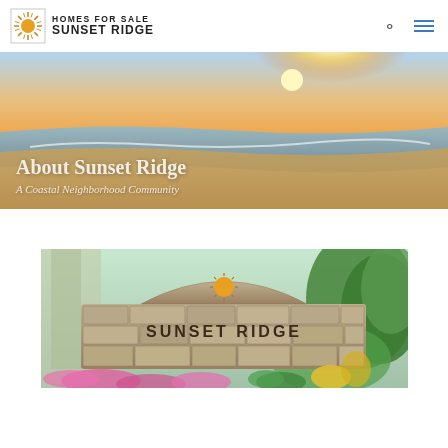Homes for Sale Sunset Ridge
[Figure (photo): Beach sunset hero image with text overlay 'About Sunset Ridge' and subtitle 'A Coastal Neighborhood Community']
About Sunset Ridge
A Coastal Neighborhood Community
[Figure (photo): Sunset Ridge stone entrance sign with flowers and tropical plants]